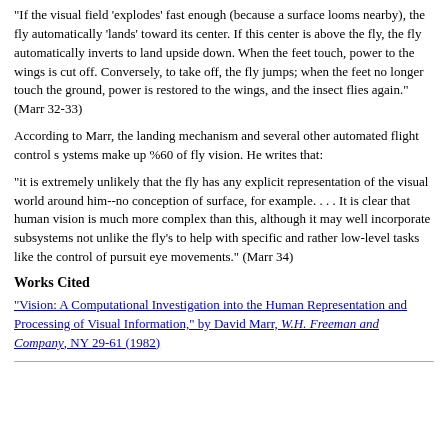"If the visual field 'explodes' fast enough (because a surface looms nearby), the fly automatically 'lands' toward its center. If this center is above the fly, the fly automatically inverts to land upside down. When the feet touch, power to the wings is cut off. Conversely, to take off, the fly jumps; when the feet no longer touch the ground, power is restored to the wings, and the insect flies again." (Marr 32-33)
According to Marr, the landing mechanism and several other automated flight control s ystems make up %60 of fly vision. He writes that:
"it is extremely unlikely that the fly has any explicit representation of the visual world around him--no conception of surface, for example. . . . It is clear that human vision is much more complex than this, although it may well incorporate subsystems not unlike the fly's to help with specific and rather low-level tasks like the control of pursuit eye movements." (Marr 34)
Works Cited
"Vision: A Computational Investigation into the Human Representation and Processing of Visual Information," by David Marr, W.H. Freeman and Company, NY 29-61 (1982)